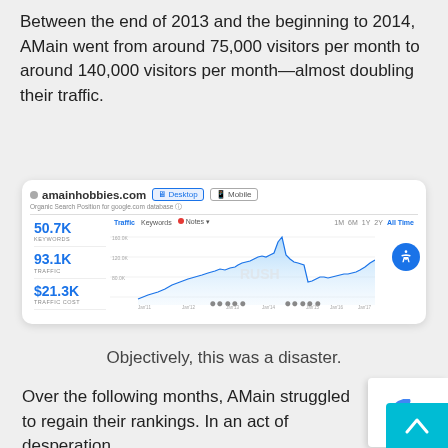Between the end of 2013 and the beginning to 2014, AMain went from around 75,000 visitors per month to around 140,000 visitors per month—almost doubling their traffic.
[Figure (screenshot): Screenshot of SEMrush analytics for amainhobbies.com showing organic search metrics: 50.7K keywords, 93.1K traffic, $21.3K traffic cost, and an area line chart showing traffic from Jan'11 to Jan'17 with a notable spike around Jan'14. Toggle buttons for Desktop and Mobile views, time range buttons (1M, 6M, 1Y, 2Y, All Time). Accessibility icon in top right corner.]
Objectively, this was a disaster.
Over the following months, AMain struggled to regain their rankings. In an act of desperation